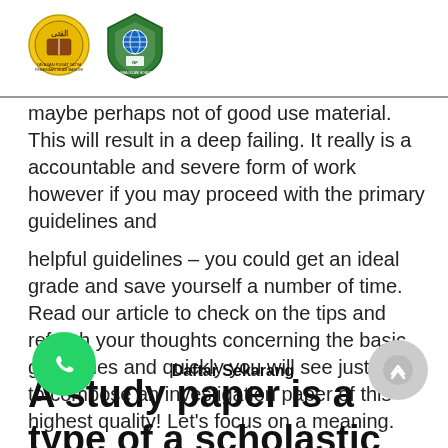[Figure (logo): Two institutional logos side by side: a circular yellow/gold seal on the left and a green shield-shaped logo on the right]
maybe perhaps not of good use material. This will result in a deep failing. It really is a accountable and severe form of work however if you may proceed with the primary guidelines and
helpful guidelines – you could get an ideal grade and save yourself a number of time. Read our article to check on the tips and refresh your thoughts concerning the basic guidelines and quickly you will see just how to compose an investigation paper of this highest quality! Let's focus on a meaning.
A study paper is a type of a scholastic project that needs